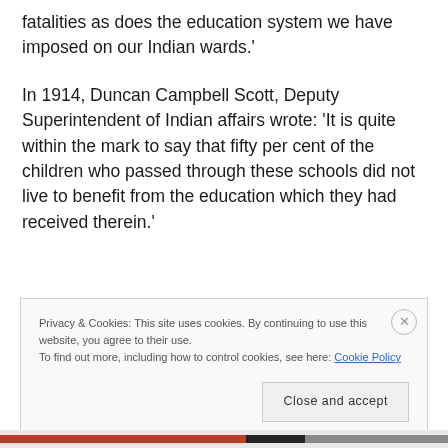fatalities as does the education system we have imposed on our Indian wards.'
In 1914, Duncan Campbell Scott, Deputy Superintendent of Indian affairs wrote: 'It is quite within the mark to say that fifty per cent of the children who passed through these schools did not live to benefit from the education which they had received therein.'
Privacy & Cookies: This site uses cookies. By continuing to use this website, you agree to their use.
To find out more, including how to control cookies, see here: Cookie Policy